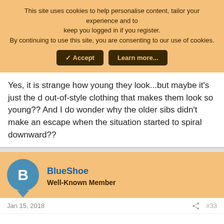This site uses cookies to help personalise content, tailor your experience and to keep you logged in if you register.
By continuing to use this site, you are consenting to our use of cookies.
Yes, it is strange how young they look...but maybe it's just the d out-of-style clothing that makes them look so young?? And I do wonder why the older sibs didn't make an escape when the situation started to spiral downward??
BlueShoe
Well-Known Member
Jan 15, 2018
#33